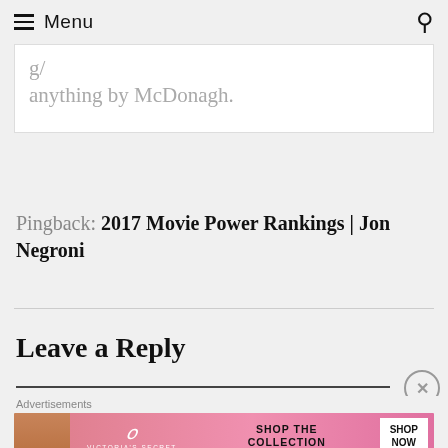Menu
anything by McDonagh.
Pingback: 2017 Movie Power Rankings | Jon Negroni
Leave a Reply
[Figure (infographic): Advertisement banner for Victoria's Secret showing a model, VS logo, 'SHOP THE COLLECTION' text, and a 'SHOP NOW' button]